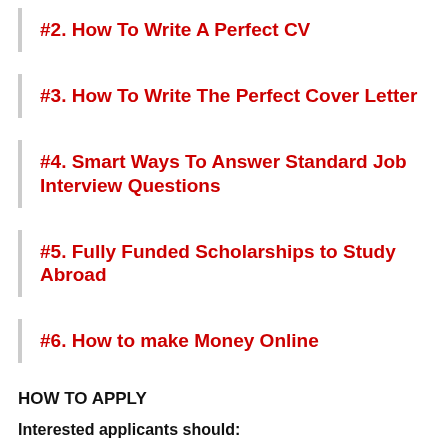#2. How To Write A Perfect CV
#3. How To Write The Perfect Cover Letter
#4. Smart Ways To Answer Standard Job Interview Questions
#5. Fully Funded Scholarships to Study Abroad
#6. How to make Money Online
HOW TO APPLY
Interested applicants should:
Click Here To Visit The Official Website To